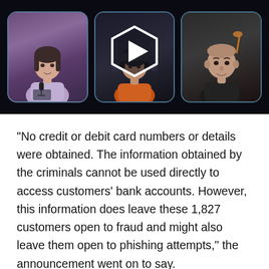[Figure (screenshot): Video thumbnail showing three people in separate panels: a woman with a microphone on the left, a person in the center (partially obscured by a play button overlay), and a bald man on the right. The panels have rounded corners with a blue-tinted border on a dark background. A large white hexagonal play button is overlaid in the center.]
"No credit or debit card numbers or details were obtained. The information obtained by the criminals cannot be used directly to access customers' bank accounts. However, this information does leave these 1,827 customers open to fraud and might also leave them open to phishing attempts," the announcement went on to say.